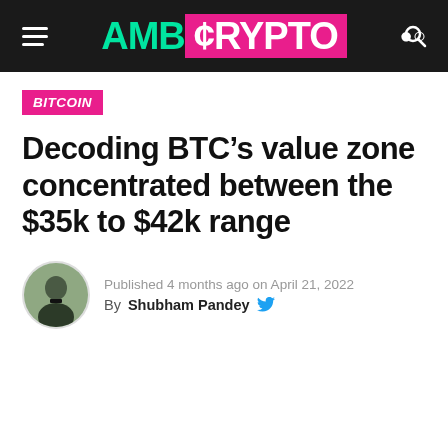AMB CRYPTO
BITCOIN
Decoding BTC’s value zone concentrated between the $35k to $42k range
Published 4 months ago on April 21, 2022
By Shubham Pandey